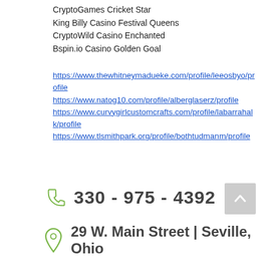CryptoGames Cricket Star
King Billy Casino Festival Queens
CryptoWild Casino Enchanted
Bspin.io Casino Golden Goal
https://www.thewhitneymadueke.com/profile/leeosbyo/profile
https://www.natog10.com/profile/alberglaserz/profile
https://www.curvygirlcustomcrafts.com/profile/labarrahalk/profile
https://www.tlsmithpark.org/profile/bothtudmanm/profile
330 - 975 - 4392
29 W. Main Street | Seville, Ohio